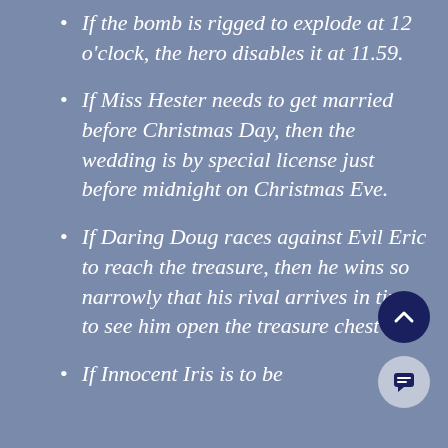If the bomb is rigged to explode at 12 o'clock, the hero disables it at 11.59.
If Miss Hester needs to get married before Christmas Day, then the wedding is by special license just before midnight on Christmas Eve.
If Daring Doug races against Evil Eric to reach the treasure, then he wins so narrowly that his rival arrives in time to see him open the treasure chest
If Innocent Iris is to be…